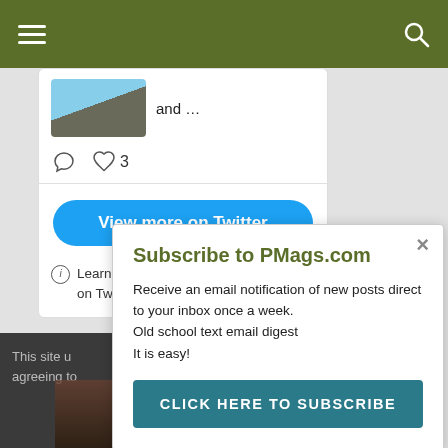Navigation bar with hamburger menu and search icon
[Figure (screenshot): Twitter embedded widget showing a tweet with an image thumbnail, text 'and ...', comment and heart (3 likes) interaction icons, a 'View more on Twitter' button, and a privacy info link.]
and ...
3
View more on Twitter
Learn more about privacy on Twitter
This site u agreeing to
Subscribe to PMags.com
Receive an email notification of new posts direct to your inbox once a week.
Old school text email digest
It is easy!
CLICK HERE TO SUBSCRIBE